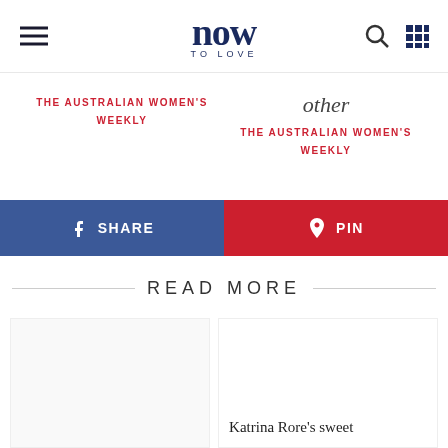now TO LOVE
THE AUSTRALIAN WOMEN'S WEEKLY
other
THE AUSTRALIAN WOMEN'S WEEKLY
f SHARE
PIN
READ MORE
Katrina Rore's sweet